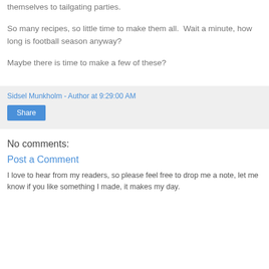themselves to tailgating parties.
So many recipes, so little time to make them all.  Wait a minute, how long is football season anyway?
Maybe there is time to make a few of these?
Sidsel Munkholm - Author at 9:29:00 AM
No comments:
Post a Comment
I love to hear from my readers, so please feel free to drop me a note, let me know if you like something I made, it makes my day.